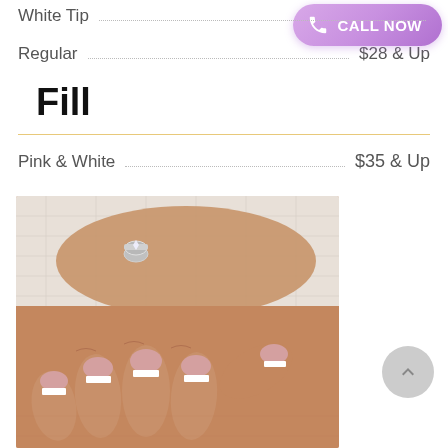White Tip
Regular  $28 & Up
Fill
Pink & White  $35 & Up
[Figure (photo): Two hands with pink and white French tip acrylic nails resting on a white textured surface. The upper hand wears a diamond ring stack on the ring finger.]